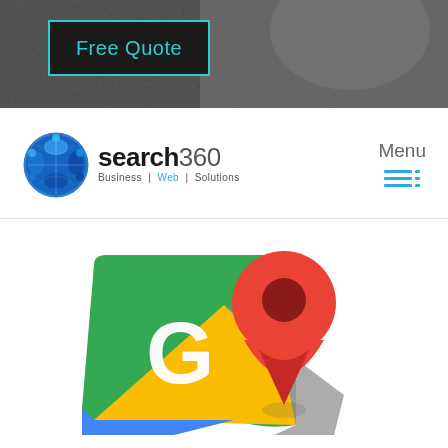[Figure (photo): Dark monochrome banner background image at the top of the page]
Free Quote
[Figure (logo): Search360 logo: blue puzzle-piece globe icon with 'search360' text and tagline 'Business | Web | Solutions']
Menu
[Figure (logo): Google Maps icon: green map card with white G letter and red location pin marker]